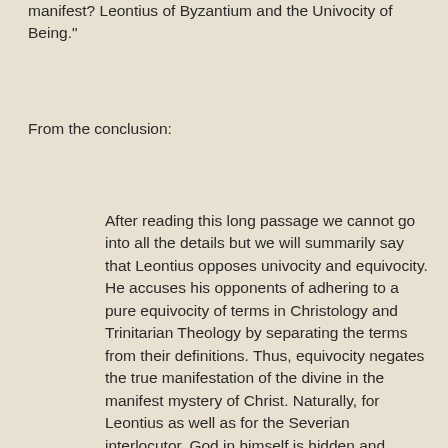manifest? Leontius of Byzantium and the Univocity of Being."
From the conclusion:
After reading this long passage we cannot go into all the details but we will summarily say that Leontius opposes univocity and equivocity. He accuses his opponents of adhering to a pure equivocity of terms in Christology and Trinitarian Theology by separating the terms from their definitions. Thus, equivocity negates the true manifestation of the divine in the manifest mystery of Christ. Naturally, for Leontius as well as for the Severian interlocutor, God in himself is hidden and beyond word, intellect and nature. However, for Leontius this God has truly revealed himself in Christ and thus we must speak in univocal terms of the Trinity and Christ. He